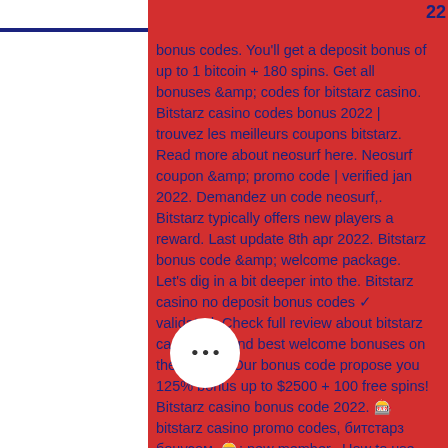22
bonus codes. You'll get a deposit bonus of up to 1 bitcoin + 180 spins. Get all bonuses &amp;amp; codes for bitstarz casino. Bitstarz casino codes bonus 2022 | trouvez les meilleurs coupons bitstarz. Read more about neosurf here. Neosurf coupon &amp;amp; promo code | verified jan 2022. Demandez un code neosurf,. Bitstarz typically offers new players a reward. Last update 8th apr 2022. Bitstarz bonus code &amp;amp; welcome package. Let's dig in a bit deeper into the. Bitstarz casino no deposit bonus codes ✓ validated. Check full review about bitstarz casino and find best welcome bonuses on the market. Our bonus code propose you 125% bonus up to $2500 + 100 free spins! Bitstarz casino bonus code 2022. 🎰bitstarz casino promo codes, битстарз бонусом, 🎰: new member,. How to use your promotional code? Best no deposit bonus casinos and codes 2022: 1. Casino